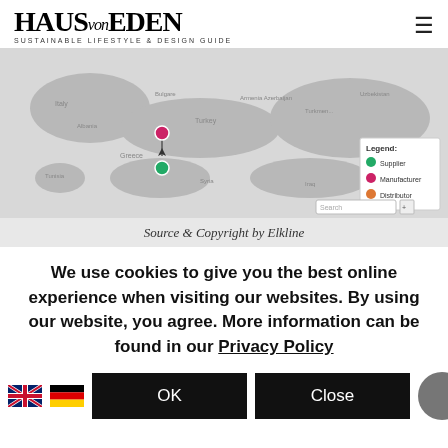HAUS von EDEN – SUSTAINABLE LIFESTYLE & DESIGN GUIDE
[Figure (map): Interactive map showing Europe and Middle East region with legend indicating Supplier (green), Manufacturer (pink/red), Distributor (orange) markers. A pink marker and green marker are visible in Greece/Turkey area with a line connecting them.]
Source & Copyright by Elkline
We use cookies to give you the best online experience when visiting our websites. By using our website, you agree. More information can be found in our Privacy Policy
OK   Close